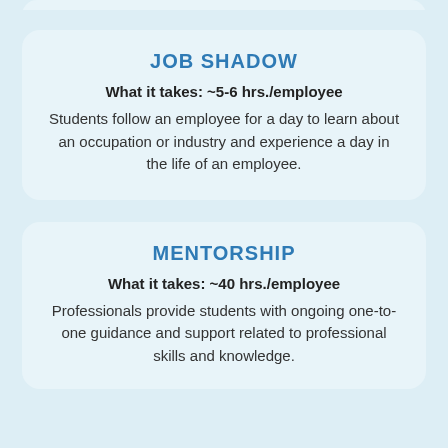JOB SHADOW
What it takes: ~5-6 hrs./employee
Students follow an employee for a day to learn about an occupation or industry and experience a day in the life of an employee.
MENTORSHIP
What it takes: ~40 hrs./employee
Professionals provide students with ongoing one-to-one guidance and support related to professional skills and knowledge.